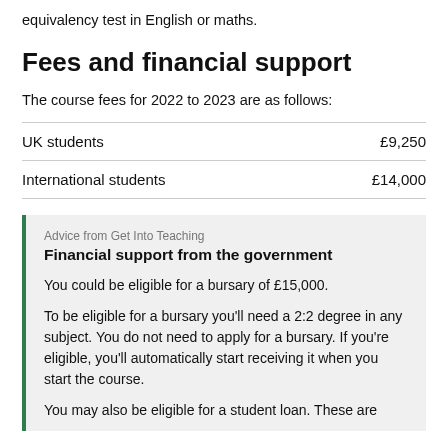equivalency test in English or maths.
Fees and financial support
The course fees for 2022 to 2023 are as follows:
|  |  |
| --- | --- |
| UK students | £9,250 |
| International students | £14,000 |
Advice from Get Into Teaching
Financial support from the government
You could be eligible for a bursary of £15,000.
To be eligible for a bursary you'll need a 2:2 degree in any subject. You do not need to apply for a bursary. If you're eligible, you'll automatically start receiving it when you start the course.
You may also be eligible for a student loan. These are